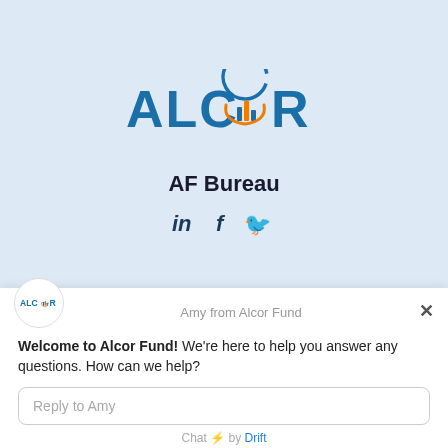[Figure (logo): ALCOR Fund logo with bar chart icon in blue and orange]
AF Bureau
[Figure (infographic): Social media icons: LinkedIn, Facebook, Twitter]
[Figure (logo): Small ALCOR logo in chat widget header]
Amy from Alcor Fund
Welcome to Alcor Fund! We're here to help you answer any questions. How can we help?
Reply to Amy
Chat ⚡ by Drift